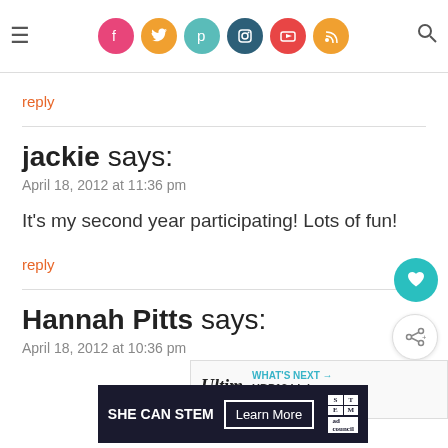Navigation header with social icons (Facebook, Twitter, Pinterest, Instagram, YouTube, RSS) and search
reply
jackie says:
April 18, 2012 at 11:36 pm

It's my second year participating! Lots of fun!
reply
Hannah Pitts says:
April 18, 2012 at 10:36 pm